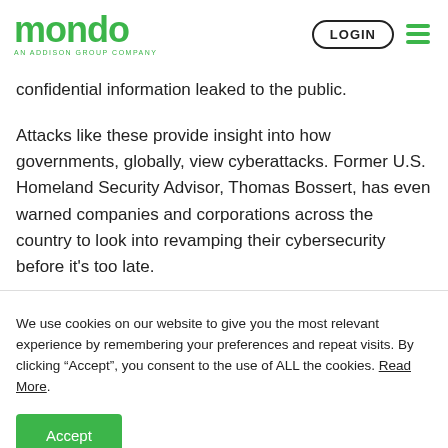mondo AN ADDISON GROUP COMPANY | LOGIN
confidential information leaked to the public.
Attacks like these provide insight into how governments, globally, view cyberattacks. Former U.S. Homeland Security Advisor, Thomas Bossert, has even warned companies and corporations across the country to look into revamping their cybersecurity before it’s too late.
We use cookies on our website to give you the most relevant experience by remembering your preferences and repeat visits. By clicking “Accept”, you consent to the use of ALL the cookies. Read More.
Accept